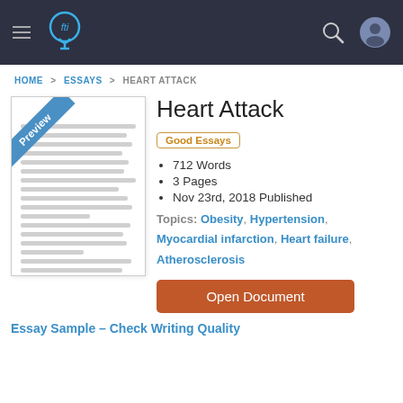[Figure (screenshot): Navigation bar with hamburger menu, lightbulb logo, search icon, and user profile icon on dark background]
HOME > ESSAYS > HEART ATTACK
Heart Attack
[Figure (other): Document preview thumbnail with 'Preview' banner in blue diagonal ribbon]
Good Essays
712 Words
3 Pages
Nov 23rd, 2018 Published
Topics: Obesity, Hypertension, Myocardial infarction, Heart failure, Atherosclerosis
Open Document
Essay Sample – Check Writing Quality